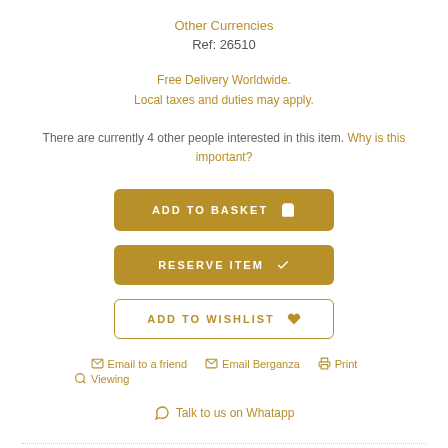Other Currencies
Ref: 26510
Free Delivery Worldwide.
Local taxes and duties may apply.
There are currently 4 other people interested in this item. Why is this important?
ADD TO BASKET
RESERVE ITEM
ADD TO WISHLIST
Email to a friend   Email Berganza   Print
Viewing
Talk to us on Whatapp